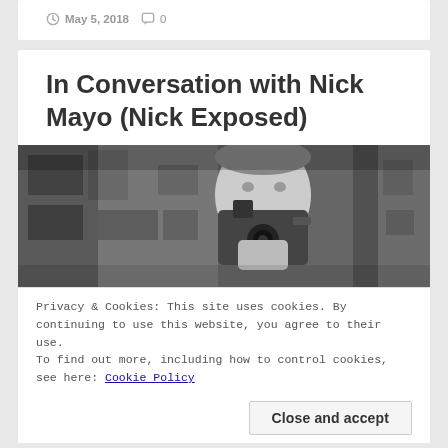May 5, 2018   0
In Conversation with Nick Mayo (Nick Exposed)
[Figure (photo): Black and white photograph of a man holding a camera up to his face, photographing the viewer, with blurred architectural background]
Privacy & Cookies: This site uses cookies. By continuing to use this website, you agree to their use.
To find out more, including how to control cookies, see here: Cookie Policy
Close and accept